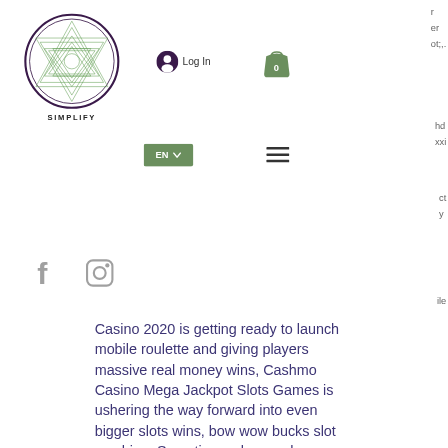[Figure (logo): Simplify logo: circular geometric mandala design in green/purple with double ring border, text 'SIMPLIFY' below in bold caps]
[Figure (illustration): User account icon (person silhouette in dark circle) with 'Log In' text]
[Figure (illustration): Shopping cart/bag icon in green with '0' count badge]
[Figure (illustration): Language selector button showing 'EN' with dropdown arrow in green rectangle]
[Figure (illustration): Hamburger menu icon (three horizontal lines)]
[Figure (illustration): Facebook icon (gray 'f' letter)]
[Figure (illustration): Instagram icon (gray camera outline)]
Casino 2020 is getting ready to launch mobile roulette and giving players massive real money wins, Cashmo Casino Mega Jackpot Slots Games is ushering the way forward into even bigger slots wins, bow wow bucks slot machine. Sometimes players chew over the ways to influence slots. Maybe we will disappoint you but it is impossible to affect a slot outside the fabric where it is produced, casino luc